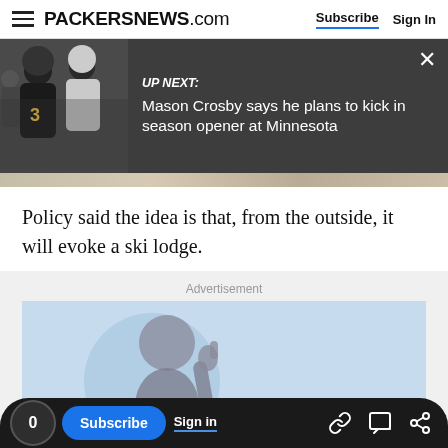PACKERSNEWS.com  Subscribe  Sign In
[Figure (screenshot): UP NEXT banner with photo of football players and text: Mason Crosby says he plans to kick in season opener at Minnesota]
Policy said the idea is that, from the outside, it will evoke a ski lodge.
Advertisement
[Figure (photo): Advertisement placeholder with light blue background and a person silhouette giving thumbs up inside a circle]